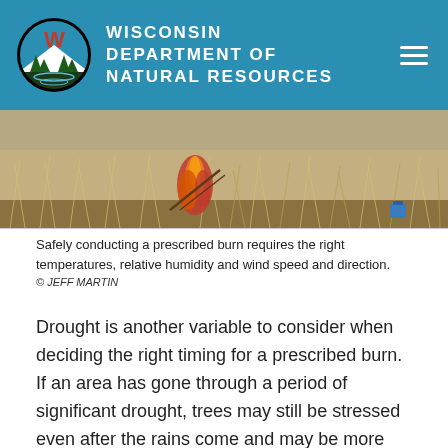WISCONSIN DEPARTMENT OF NATURAL RESOURCES
[Figure (photo): A prescribed burn in a field of dry grass and brush, with orange flames visible near the center of the image]
Safely conducting a prescribed burn requires the right temperatures, relative humidity and wind speed and direction.
© JEFF MARTIN
Drought is another variable to consider when deciding the right timing for a prescribed burn. If an area has gone through a period of significant drought, trees may still be stressed even after the rains come and may be more susceptible to disease compared to a prescribed burn in